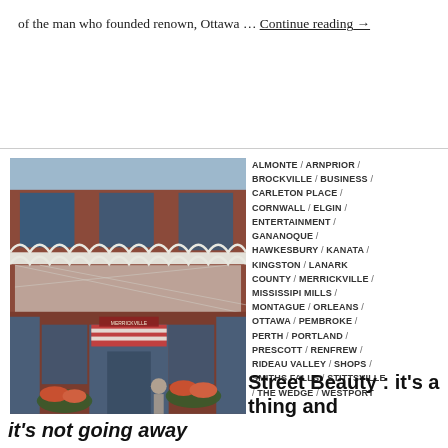of the man who founded renown, Ottawa … Continue reading →
[Figure (photo): Victorian-era red brick commercial building with ornate white decorative ironwork balcony and porch, blue storefront with awnings and flower boxes, street level view]
ALMONTE / ARNPRIOR / BROCKVILLE / BUSINESS / CARLETON PLACE / CORNWALL / ELGIN / ENTERTAINMENT / GANANOQUE / HAWKESBURY / KANATA / KINGSTON / LANARK COUNTY / MERRICKVILLE / MISSISSIPI MILLS / MONTAGUE / ORLEANS / OTTAWA / PEMBROKE / PERTH / PORTLAND / PRESCOTT / RENFREW / RIDEAU VALLEY / SHOPS / SMITHS FALLS / STITTSVILLE / THE WEDGE / WESTPORT
Street Beauty : it's a thing and it's not going away